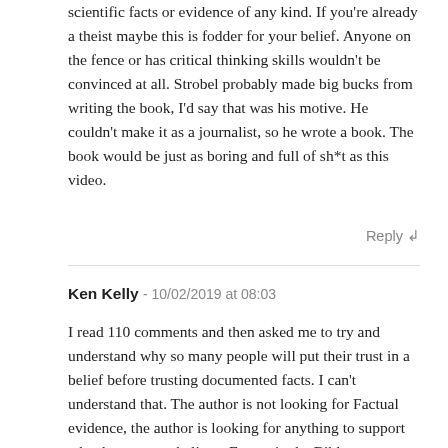scientific facts or evidence of any kind. If you're already a theist maybe this is fodder for your belief. Anyone on the fence or has critical thinking skills wouldn't be convinced at all. Strobel probably made big bucks from writing the book, I'd say that was his motive. He couldn't make it as a journalist, so he wrote a book. The book would be just as boring and full of sh*t as this video.
Reply ↲
Ken Kelly - 10/02/2019 at 08:03
I read 110 comments and then asked me to try and understand why so many people will put their trust in a belief before trusting documented facts. I can't understand that. The author is not looking for Factual evidence, the author is looking for anything to support what he wants to believe. Events in the Bible are not history. Events that have some truth about them are used in stories to try and give them believable tales. The Bible as we know it, (there are several versions) was assembled